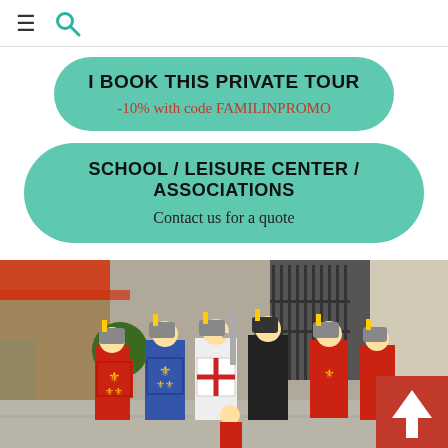≡ 🔍
I BOOK THIS PRIVATE TOUR
-10% with code FAMILINPROMO
SCHOOL / LEISURE CENTER / ASSOCIATIONS
Contact us for a quote
[Figure (photo): Group of children and adults dressed as medieval knights with shields and swords, posing on a city street in front of a cafe/restaurant. Shields are decorated with heraldic symbols including fleurs-de-lis and lions. A back-to-top arrow button is visible in the bottom right corner.]